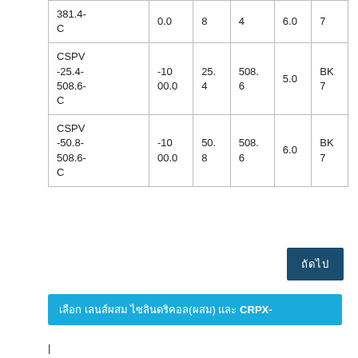| 381.4-C | 0.0 | 8 | 4 | 6.0 | 7 |
| CSPV-25.4-508.6-C | -1000.0 | 25.4 | 508.6 | 5.0 | BK7 |
| CSPV-50.8-508.6-C | -1000.0 | 50.8 | 508.6 | 6.0 | BK7 |
ถัดไป
เลือก เลนส์ผสม ไซลินดริคอล(ผสม) และ CRPX-
|